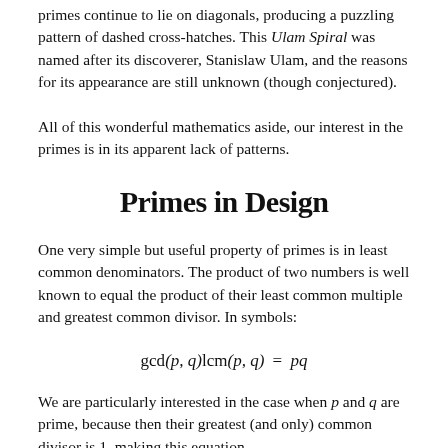primes continue to lie on diagonals, producing a puzzling pattern of dashed cross-hatches. This Ulam Spiral was named after its discoverer, Stanislaw Ulam, and the reasons for its appearance are still unknown (though conjectured).
All of this wonderful mathematics aside, our interest in the primes is in its apparent lack of patterns.
Primes in Design
One very simple but useful property of primes is in least common denominators. The product of two numbers is well known to equal the product of their least common multiple and greatest common divisor. In symbols:
We are particularly interested in the case when p and q are prime, because then their greatest (and only) common divisor is 1, making this equation